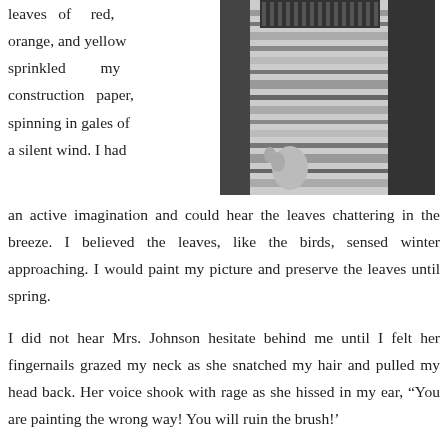leaves of red, orange, and yellow sprinkled my construction paper, spinning in gales of a silent wind. I had an active imagination and could hear the leaves chattering in the breeze. I believed the leaves, like the birds, sensed winter approaching. I would paint my picture and preserve the leaves until spring.
[Figure (photo): Black and white photograph showing a person in a striped dress, cropped to show torso and hands, with another person partially visible at the right.]
I did not hear Mrs. Johnson hesitate behind me until I felt her fingernails grazed my neck as she snatched my hair and pulled my head back. Her voice shook with rage as she hissed in my ear, “You are painting the wrong way! You will ruin the brush!'